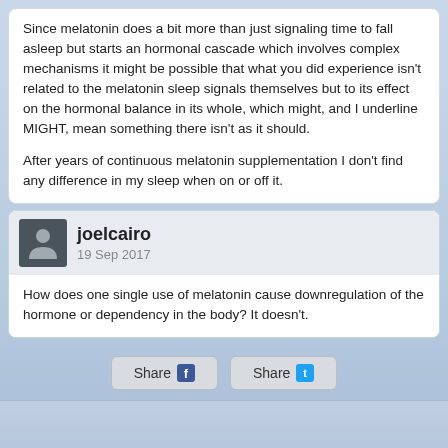Since melatonin does a bit more than just signaling time to fall asleep but starts an hormonal cascade which involves complex mechanisms it might be possible that what you did experience isn't related to the melatonin sleep signals themselves but to its effect on the hormonal balance in its whole, which might, and I underline MIGHT, mean something there isn't as it should.

After years of continuous melatonin supplementation I don't find any difference in my sleep when on or off it.
joelcairo
19 Sep 2017
How does one single use of melatonin cause downregulation of the hormone or dependency in the body? It doesn't.
Share
Share
Full Version